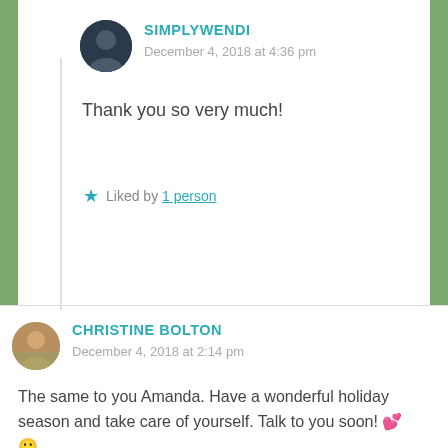SIMPLYWENDI
December 4, 2018 at 4:36 pm
Thank you so very much!
Liked by 1 person
CHRISTINE BOLTON
December 4, 2018 at 2:14 pm
The same to you Amanda. Have a wonderful holiday season and take care of yourself. Talk to you soon! ❤️ 🙂